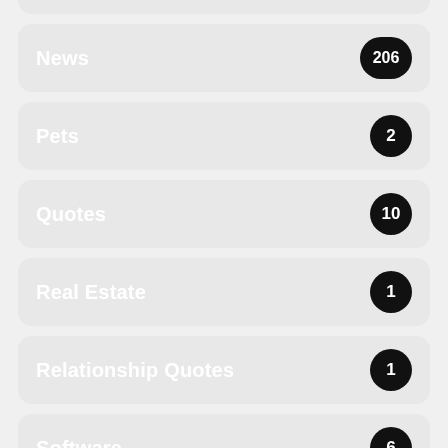News 206
Pets 2
Quotes 10
Real Estate 1
Relationship Quotes 1
Software 6